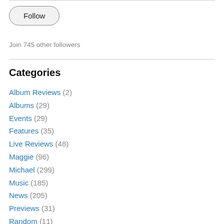[Figure (other): Follow button — rounded rectangle button with label 'Follow']
Join 745 other followers
Categories
Album Reviews (2)
Albums (29)
Events (29)
Features (35)
Live Reviews (48)
Maggie (96)
Michael (299)
Music (185)
News (205)
Previews (31)
Random (11)
Shows (27)